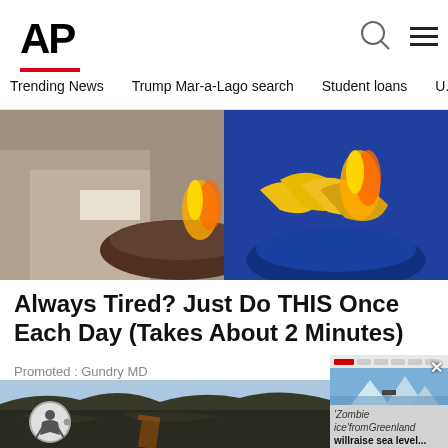AP
Trending News   Trump Mar-a-Lago search   Student loans   U.S
[Figure (photo): Close-up image of hands near food items with flames, split with a bowl of bananas]
Always Tired? Just Do THIS Once Each Day (Takes About 2 Minutes)
Promoted : Gundry MD
[Figure (photo): Rocky volcanic landscape with dark terrain]
[Figure (photo): Video overlay thumbnail showing icebergs in Greenland with text 'Zombie ice from Greenland will raise sea level...']